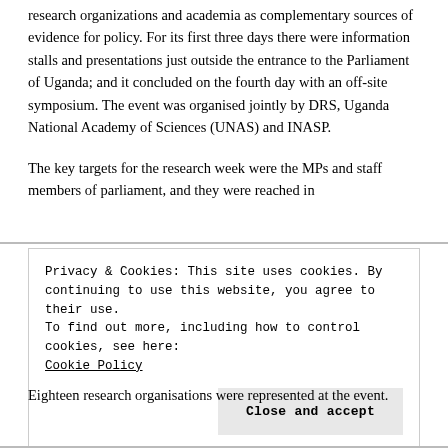research organizations and academia as complementary sources of evidence for policy. For its first three days there were information stalls and presentations just outside the entrance to the Parliament of Uganda; and it concluded on the fourth day with an off-site symposium. The event was organised jointly by DRS, Uganda National Academy of Sciences (UNAS) and INASP.
The key targets for the research week were the MPs and staff members of parliament, and they were reached in
Privacy & Cookies: This site uses cookies. By continuing to use this website, you agree to their use.
To find out more, including how to control cookies, see here:
Cookie Policy
Eighteen research organisations were represented at the event.